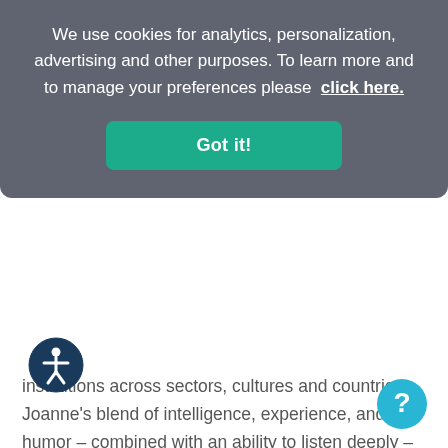We use cookies for analytics, personalization, advertising and other purposes. To learn more and to manage your preferences please click here.
Got it!
institutions across sectors, cultures and countries. Joanne’s blend of intelligence, experience, and humor – combined with an ability to listen deeply – enables her to guide individuals to greater awareness and achievement. Learn more about Joanne here ›
[Figure (illustration): Accessibility icon: dark blue circle with white stick figure person]
[Figure (illustration): Help chat bubble icon: light blue circle with white question mark]